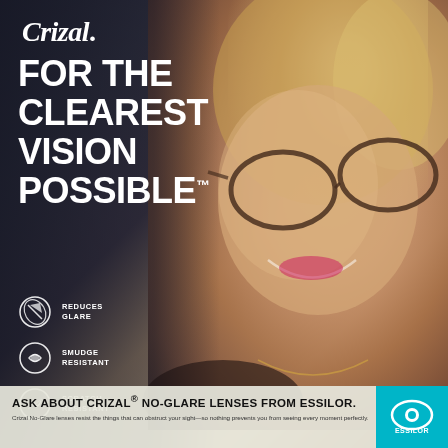[Figure (photo): Smiling blonde woman wearing tortoiseshell glasses against a dark moody background, advertising Crizal lenses]
Crizal.
FOR THE CLEAREST VISION POSSIBLE™
REDUCES GLARE
SMUDGE RESISTANT
SCRATCH RESISTANT
ASK ABOUT CRIZAL® NO-GLARE LENSES FROM ESSILOR.
Crizal No-Glare lenses resist the things that can obstruct your sight—so nothing prevents you from seeing every moment perfectly.
[Figure (logo): Essilor logo with teal background and white eye/lens icon]